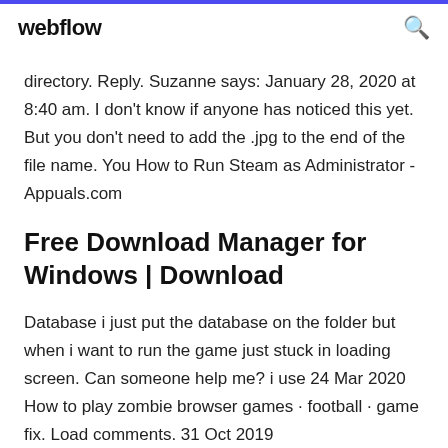webflow
directory. Reply. Suzanne says: January 28, 2020 at 8:40 am. I don’t know if anyone has noticed this yet. But you don’t need to add the .jpg to the end of the file name. You How to Run Steam as Administrator - Appuals.com
Free Download Manager for Windows | Download
Database i just put the database on the folder but when i want to run the game just stuck in loading screen. Can someone help me? i use 24 Mar 2020 How to play zombie browser games · football · game fix. Load comments. 31 Oct 2019